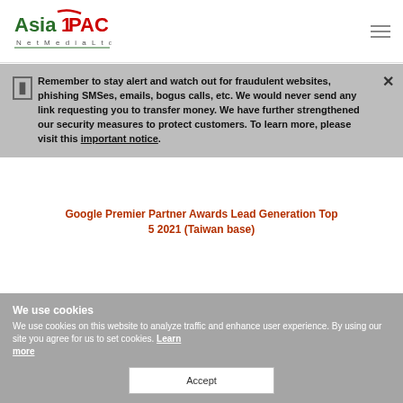AsiaPAC Net Media Ltd. [logo] [hamburger menu]
Remember to stay alert and watch out for fraudulent websites, phishing SMSes, emails, bogus calls, etc. We would never send any link requesting you to transfer money. We have further strengthened our security measures to protect customers. To learn more, please visit this important notice.
Google Premier Partner Awards Lead Generation Top 5 2021 (Taiwan base)
We use cookies
We use cookies on this website to analyze traffic and enhance user experience. By using our site you agree for us to set cookies. Learn more
Accept